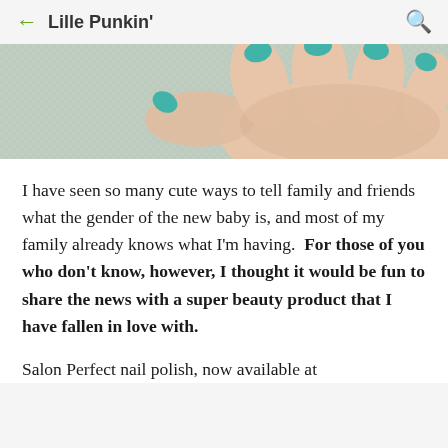← Lille Punkin' 🔍
[Figure (photo): Close-up photo of a hand with teal/turquoise painted nails resting on a light gray textured surface (towel or fabric)]
I have seen so many cute ways to tell family and friends what the gender of the new baby is, and most of my family already knows what I'm having.  For those of you who don't know, however, I thought it would be fun to share the news with a super beauty product that I have fallen in love with.
Salon Perfect nail polish, now available at